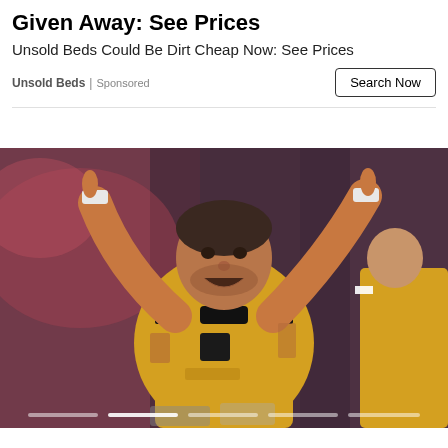Given Away: See Prices
Unsold Beds Could Be Dirt Cheap Now: See Prices
Unsold Beds | Sponsored
[Figure (photo): A football player in a yellow Wolverhampton Wanderers kit celebrating with both arms raised, pointing index fingers upward, mouth open in celebration. Other players visible in background. Stadium crowd in background with red/blurred tones.]
Search Now button